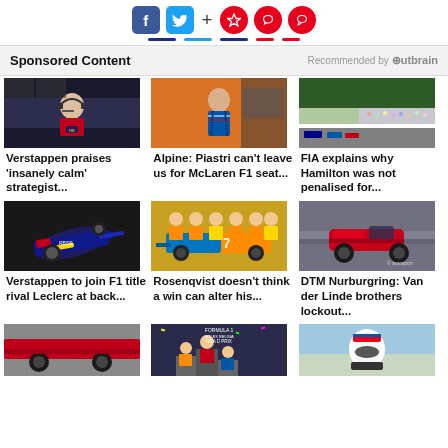[Figure (infographic): Social media share buttons: Facebook (blue), Twitter (blue bird), plus sign, and three red circle icons (bookmark, notification, comment)]
Sponsored Content   Recommended by Outbrain
[Figure (photo): Woman with headset at race pit wall (Red Bull team)]
Verstappen praises ‘insanely calm’ strategist...
[Figure (photo): F1 driver in blue Alpine gear walking]
Alpine: Piastri can’t leave us for McLaren F1 seat...
[Figure (photo): F1 race start at Spa-Francorchamps with large crowd]
FIA explains why Hamilton was not penalised for...
[Figure (photo): Red Bull F1 car on track (Verstappen)]
Verstappen to join F1 title rival Leclerc at back...
[Figure (photo): McLaren team with yellow F1 car, Gulf livery]
Rosenqvist doesn’t think a win can alter his...
[Figure (photo): Red Ferrari GT car at speed on track (DTM)]
DTM Nurburgring: Van der Linde brothers lockout...
[Figure (photo): Bottom row left: Red car on track]
[Figure (photo): Bottom row center: Formula 1 Belgian Grand Prix podium]
[Figure (photo): Bottom row right: Driver with helmet outdoors]